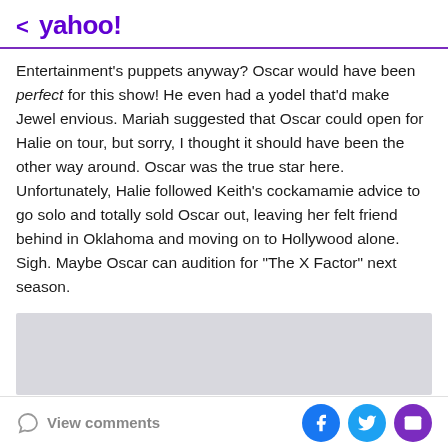< yahoo!
Entertainment's puppets anyway? Oscar would have been perfect for this show! He even had a yodel that'd make Jewel envious. Mariah suggested that Oscar could open for Halie on tour, but sorry, I thought it should have been the other way around. Oscar was the true star here. Unfortunately, Halie followed Keith's cockamamie advice to go solo and totally sold Oscar out, leaving her felt friend behind in Oklahoma and moving on to Hollywood alone. Sigh. Maybe Oscar can audition for "The X Factor" next season.
[Figure (other): Gray placeholder/advertisement box]
View comments